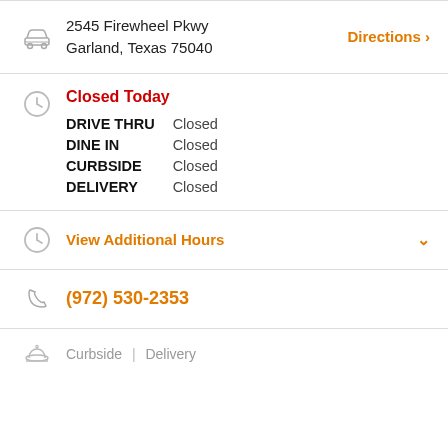2545 Firewheel Pkwy
Garland, Texas 75040
Directions >
Closed Today
| Service | Status |
| --- | --- |
| DRIVE THRU | Closed |
| DINE IN | Closed |
| CURBSIDE | Closed |
| DELIVERY | Closed |
View Additional Hours
(972) 530-2353
Curbside | Delivery